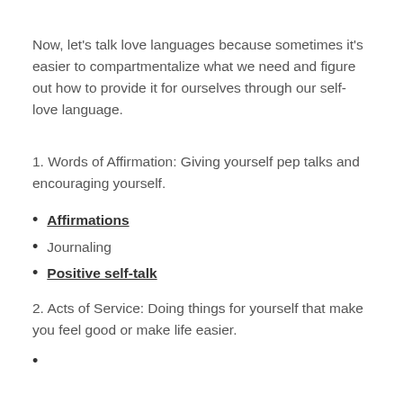Now, let's talk love languages because sometimes it's easier to compartmentalize what we need and figure out how to provide it for ourselves through our self-love language.
1. Words of Affirmation: Giving yourself pep talks and encouraging yourself.
Affirmations
Journaling
Positive self-talk
2. Acts of Service: Doing things for yourself that make you feel good or make life easier.